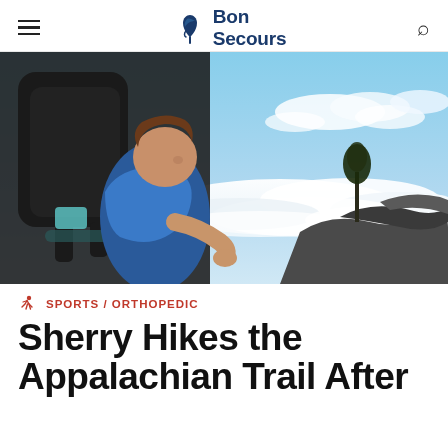Bon Secours
[Figure (photo): A woman wearing a blue t-shirt and carrying a large black backpack stands on a rocky mountain overlook, looking out over a sea of clouds. Trees and rocks are visible in the background.]
SPORTS / ORTHOPEDIC
Sherry Hikes the Appalachian Trail After